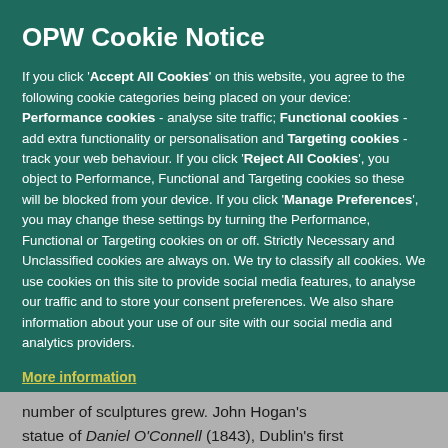OPW Cookie Notice
If you click 'Accept All Cookies' on this website, you agree to the following cookie categories being placed on your device: Performance cookies - analyse site traffic; Functional cookies - add extra functionality or personalisation and Targeting cookies - track your web behaviour. If you click 'Reject All Cookies', you object to Performance, Functional and Targeting cookies so these will be blocked from your device. If you click 'Manage Preferences', you may change these settings by turning the Performance, Functional or Targeting cookies on or off. Strictly Necessary and Unclassified cookies are always on. We try to classify all cookies. We use cookies on this site to provide social media features, to analyse our traffic and to store your consent preferences. We also share information about your use of our site with our social media and analytics providers.
More information
number of sculptures grew. John Hogan's statue of Daniel O'Connell (1843), Dublin's first